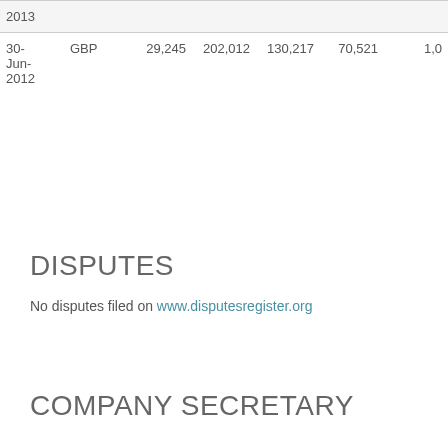| 2013 |  |  |  |  |  |
| 30-Jun-2012 | GBP | 29,245 | 202,012 | 130,217 | 70,521 | 1,00 |
DISPUTES
No disputes filed on www.disputesregister.org
COMPANY SECRETARY